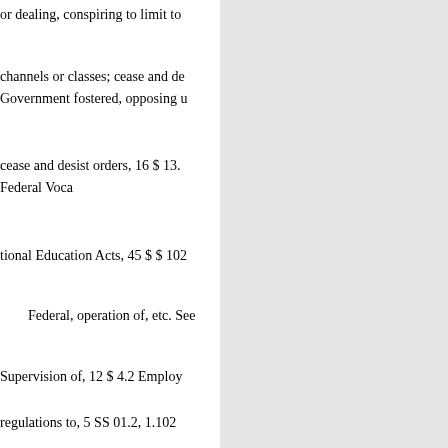or dealing, conspiring to limit to
channels or classes; cease and de
Government fostered, opposing u
cease and desist orders, 16 $ 13.
Federal Voca
tional Education Acts, 45 $ $ 102
Federal, operation of, etc. See
Supervision of, 12 $ 4.2 Employ
regulations to, 5 SS 01.2, 1.102 
4.2 Vocational rehabilitation in:
Administrative procedure, 4
Blind persons, 45 $ $ 402.2
Vocational rehabilitatio
Workmen's compensation
Diversion and reconsignmen
Dividends, payment of:
By Federal savings and loa
By management investment
lations under Investm